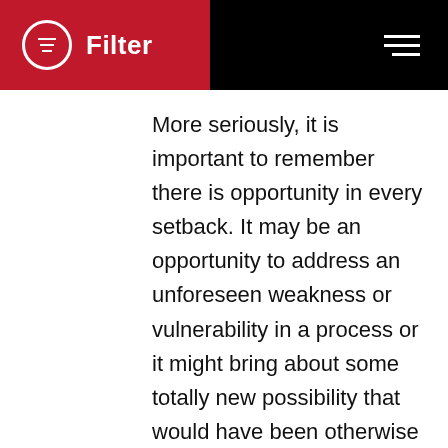Filter
More seriously, it is important to remember there is opportunity in every setback. It may be an opportunity to address an unforeseen weakness or vulnerability in a process or it might bring about some totally new possibility that would have been otherwise unsought. In some cases it may even be the opportunity to totally reinvent yourself. One thing it